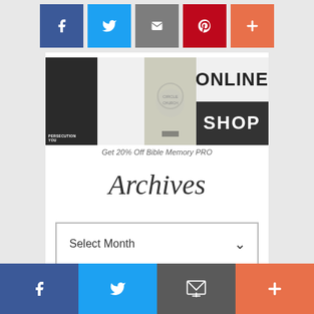[Figure (other): Social share buttons row: Facebook (blue), Twitter (light blue), Email (grey), Pinterest (red), Plus (orange-red)]
[Figure (other): Online Shop banner with four thumbnail images on the left and ONLINE SHOP text on the right]
Get 20% Off Bible Memory PRO
Archives
[Figure (other): Select Month dropdown selector with chevron arrow]
[Figure (other): Bottom social bar: Facebook (dark blue), Twitter (blue), Email (grey), Plus (orange-red)]